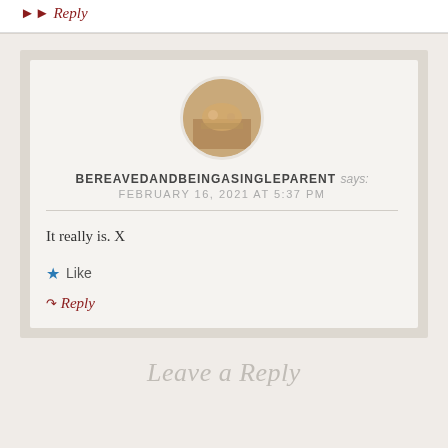>> Reply
BEREAVEDANDBEINGASINGLEPARENT says: FEBRUARY 16, 2021 AT 5:37 PM
It really is. X
Like
Reply
Leave a Reply